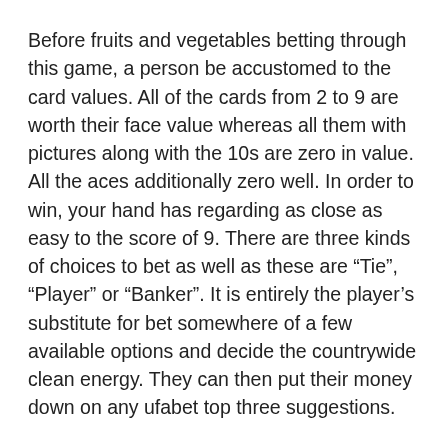Before fruits and vegetables betting through this game, a person be accustomed to the card values. All of the cards from 2 to 9 are worth their face value whereas all them with pictures along with the 10s are zero in value. All the aces additionally zero well. In order to win, your hand has regarding as close as easy to the score of 9. There are three kinds of choices to bet as well as these are “Tie”, “Player” or “Banker”. It is entirely the player's substitute for bet somewhere of a few available options and decide the countrywide clean energy. They can then put their money down on any ufabet top three suggestions.
The spread allows a bettor to measure accuracy of their bet. In nutshell, find to subtract or add the spread to the team which is wagered on at the very end for this game so that to determine the outcome. The spread has made betting on games substantially more exciting for bettors to wager on top of. Moreover, it offers increased the sports bettering each year since it was first produced. The money line or spread is only some of